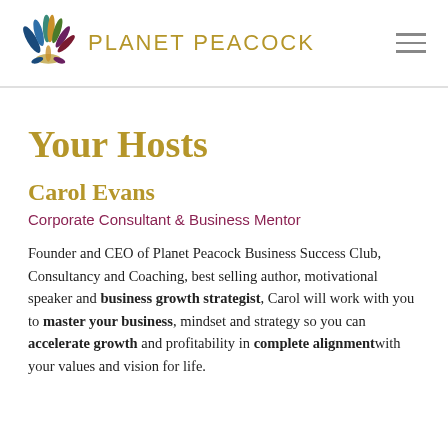[Figure (logo): Planet Peacock logo: colorful peacock feather fan with text PLANET PEACOCK]
Your Hosts
Carol Evans
Corporate Consultant & Business Mentor
Founder and CEO of Planet Peacock Business Success Club, Consultancy and Coaching, best selling author, motivational speaker and business growth strategist, Carol will work with you to master your business, mindset and strategy so you can accelerate growth and profitability in complete alignment with your values and vision for life.